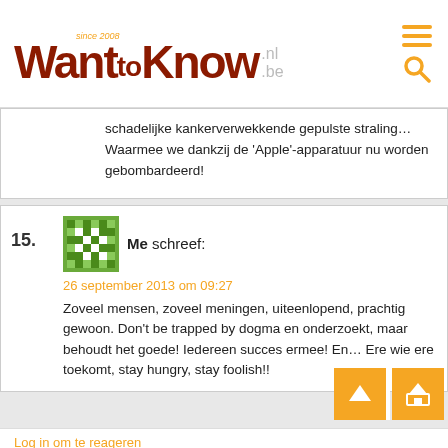[Figure (logo): WantToKnow.nl.be logo with 'since 2008' tag and orange hamburger menu and search icons]
schadelijke kankerverwekkende gepulste straling… Waarmee we dankzij de 'Apple'-apparatuur nu worden gebombardeerd!
15. Me schreef:
26 september 2013 om 09:27
Zoveel mensen, zoveel meningen, uiteenlopend, prachtig gewoon. Don't be trapped by dogma en onderzoekt, maar behoudt het goede! Iedereen succes ermee! En… Ere wie ere toekomt, stay hungry, stay foolish!!
Log in om te reageren